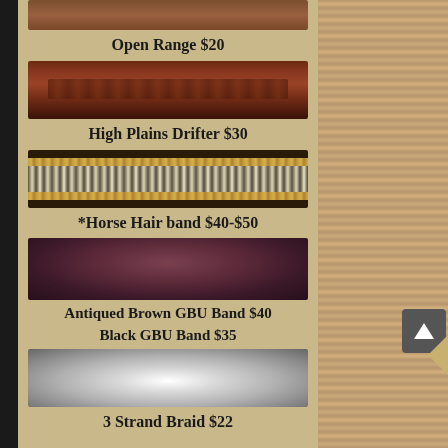[Figure (photo): Partial top view of a leather hat band (Open Range style)]
Open Range $20
[Figure (photo): High Plains Drifter leather hat band, dark reddish-brown with decorative stitching]
High Plains Drifter $30
[Figure (photo): Horse hair hat band with black and white woven pattern with arrow/chevron designs]
*Horse Hair band $40-$50
[Figure (photo): Antiqued Brown GBU hat band, dark brown/burgundy smooth leather band]
Antiqued Brown GBU Band $40
Black GBU Band $35
[Figure (photo): 3 Strand Braid hat band, silver/white braided band]
3 Strand Braid $22